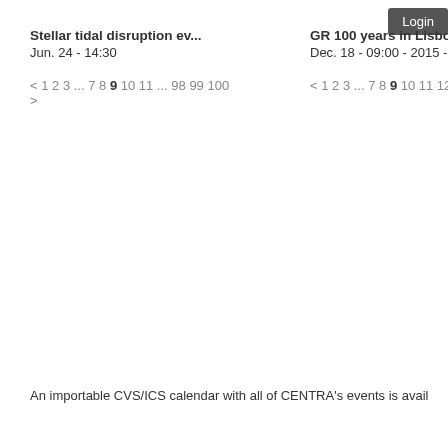Login
Stellar tidal disruption ev...
Jun. 24 - 14:30
< 1 2 3 ... 7 8 9 10 11 ... 98 99 100 >
GR 100 years in Lisbon
Dec. 18 - 09:00 - 2015 - 09:0
< 1 2 3 ... 7 8 9 10 11 12 13 >
An importable CVS/ICS calendar with all of CENTRA's events is avail